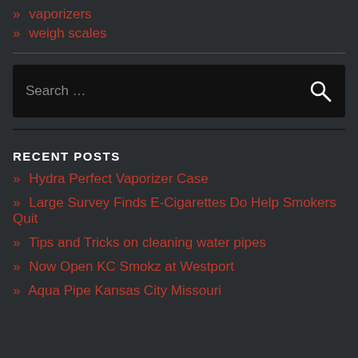» vaporizers
» weigh scales
[Figure (other): Search box with placeholder text 'Search ...' and a search icon on the right]
RECENT POSTS
» Hydra Perfect Vaporizer Case
» Large Survey Finds E-Cigarettes Do Help Smokers Quit
» Tips and Tricks on cleaning water pipes
» Now Open KC Smokz at Westport
» Aqua Pipe Kansas City Missouri